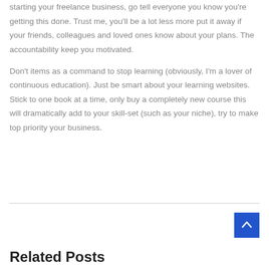starting your freelance business, go tell everyone you know you're getting this done. Trust me, you'll be a lot less more put it away if your friends, colleagues and loved ones know about your plans. The accountability keep you motivated.
Don't items as a command to stop learning (obviously, I'm a lover of continuous education). Just be smart about your learning websites. Stick to one book at a time, only buy a completely new course this will dramatically add to your skill-set (such as your niche), try to make top priority your business.
Related Posts